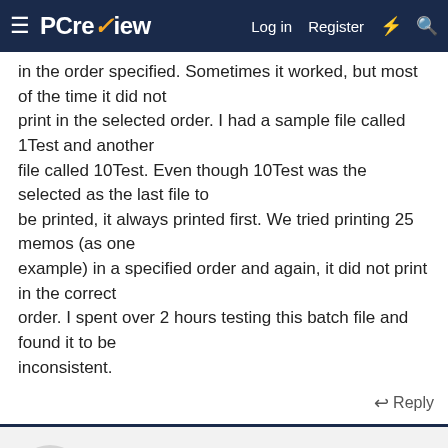PC review — Log in  Register
in the order specified. Sometimes it worked, but most of the time it did not print in the selected order. I had a sample file called 1Test and another file called 10Test. Even though 10Test was the selected as the last file to be printed, it always printed first. We tried printing 25 memos (as one example) in a specified order and again, it did not print in the correct order. I spent over 2 hours testing this batch file and found it to be inconsistent.
↩ Reply
Advertisements